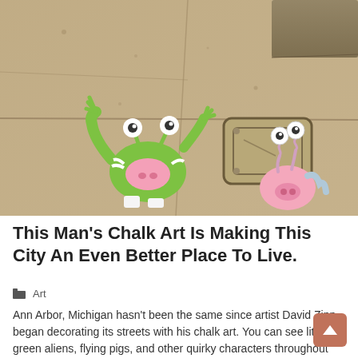[Figure (photo): Photograph of a sidewalk with chalk art drawn on it. A green frog-like alien character with bug eyes and a pink snout is drawn on the left, and a pink pig/unicorn character with spiral eyes is on the right. A canvas bag is visible in the upper right corner, and a metal drain cover is on the pavement.]
This Man’s Chalk Art Is Making This City An Even Better Place To Live.
Art
Ann Arbor, Michigan hasn't been the same since artist David Zinn began decorating its streets with his chalk art. You can see little green aliens, flying pigs, and other quirky characters throughout the city.